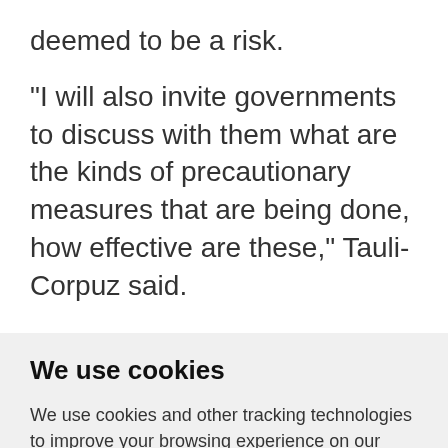deemed to be a risk.
"I will also invite governments to discuss with them what are the kinds of precautionary measures that are being done, how effective are these," Tauli-Corpuz said.
We use cookies
We use cookies and other tracking technologies to improve your browsing experience on our website, to show you personalized content and targeted ads, to analyze our website traffic, and to understand where our visitors are coming from.